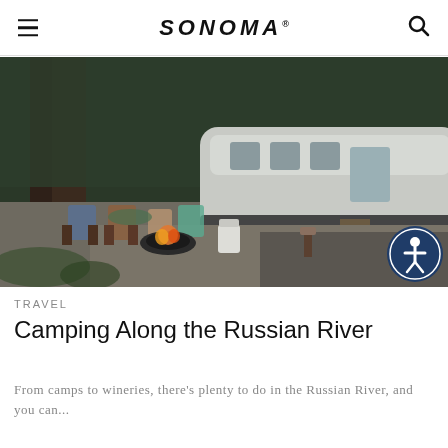SONOMA
[Figure (photo): An Airstream trailer parked in a wooded campsite with folding chairs, a fire pit with flames, and logs stacked nearby. Trees in background.]
TRAVEL
Camping Along the Russian River
From camps to wineries, there's plenty to do in the Russian River, and you can...